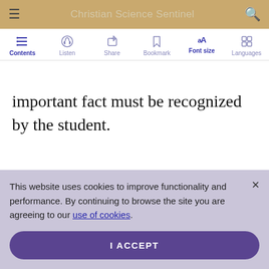Christian Science Sentinel
[Figure (screenshot): Toolbar with icons: Contents (list icon), Listen (headphones icon), Share (share icon), Bookmark (bookmark icon), Font size (AA icon, active), Languages (grid icon)]
important fact must be recognized by the student.
This website uses cookies to improve functionality and performance. By continuing to browse the site you are agreeing to our use of cookies.
I ACCEPT